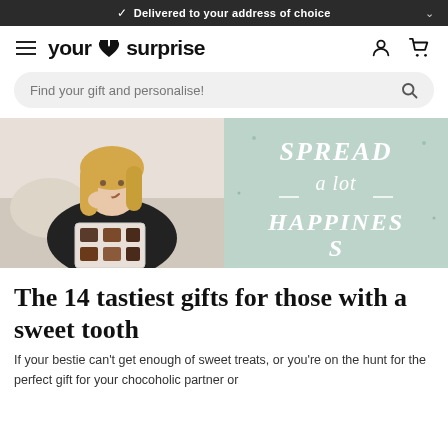✓ Delivered to your address of choice
[Figure (logo): YourSurprise logo with hamburger menu, user and cart icons]
Find your gift and personalise!
[Figure (photo): Hero banner showing a woman smiling and eating chocolate from a box on the left, and a mint green background with white handwritten text 'Spread a lot happiness' on the right]
The 14 tastiest gifts for those with a sweet tooth
If your bestie can't get enough of sweet treats, or you're on the hunt for the perfect gift for your chocoholic partner or